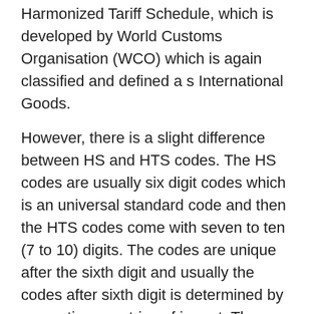Harmonized Tariff Schedule, which is developed by World Customs Organisation (WCO) which is again classified and defined a s International Goods.
However, there is a slight difference between HS and HTS codes. The HS codes are usually six digit codes which is an universal standard code and then the HTS codes come with seven to ten (7 to 10) digits. The codes are unique after the sixth digit and usually the codes after sixth digit is determined by respective countries of import. These codes are vital because they not only reveal the tariff/duty rate of the traded product, they also track the records of international trade statistics which is prevalent in 200 countries.
The HTS code was enacted by Congress and is effective since January 1, 1989 by replacing the Tariff schedules of the United States. The HTS Classification codes is a hierarchical structure to define all goods in trade for